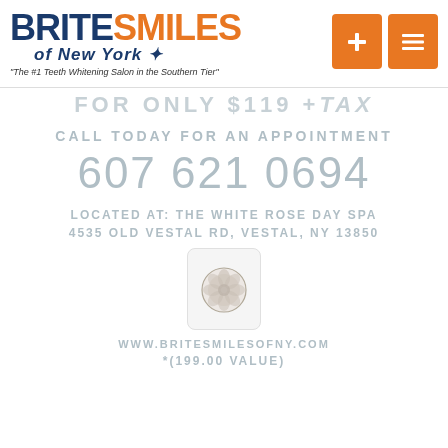BRITESMILES of New York — The #1 Teeth Whitening Salon in the Southern Tier
FOR ONLY $119 +tax
CALL TODAY FOR AN APPOINTMENT
607 621 0694
LOCATED AT: THE WHITE ROSE DAY SPA
4535 OLD VESTAL RD, VESTAL, NY 13850
[Figure (logo): White Rose Day Spa circular logo on light background]
WWW.BRITESMILESOFNY.COM
*(199.00 VALUE)